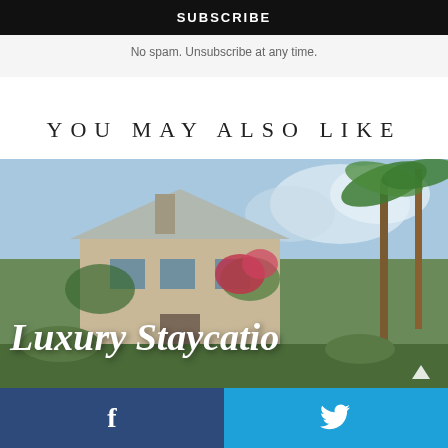SUBSCRIBE
No spam. Unsubscribe at any time.
YOU MAY ALSO LIKE
[Figure (photo): Luxury hotel or mansion with lush tropical greenery, flowers, palm trees and a chimney visible. White italic script overlaid reading 'Luxury Staycatio' (partially clipped). Triangle icon bottom right.]
f
🐦